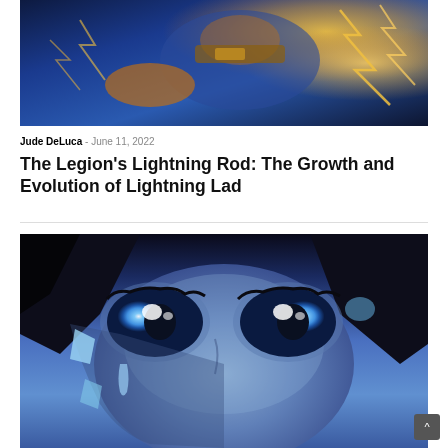[Figure (illustration): Comic book artwork showing a superhero figure with lightning bolt effects in blue and orange/gold colors against a dark background]
Jude DeLuca - June 11, 2022
The Legion's Lightning Rod: The Growth and Evolution of Lightning Lad
[Figure (illustration): Close-up comic book illustration of a blue-skinned female character with large vivid blue eyes, dramatic shading and anime-influenced art style]